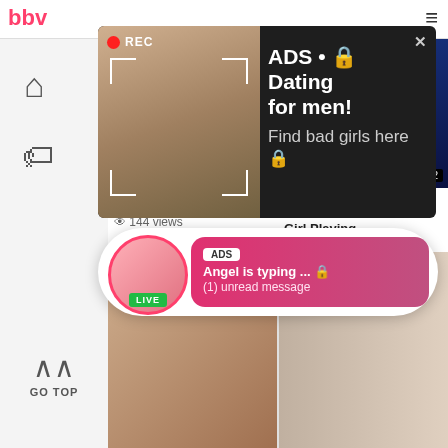bbw
[Figure (screenshot): Ad popup showing a woman taking a selfie with REC indicator, overlaid with text: ADS • Dating for men! Find bad girls here]
[Figure (screenshot): Chat-style ad bubble with avatar, LIVE badge, ADS label, 'Angel is typing ... (1) unread message']
Redheaded
144 views
Girl Playing
75%
226 views
GO TOP